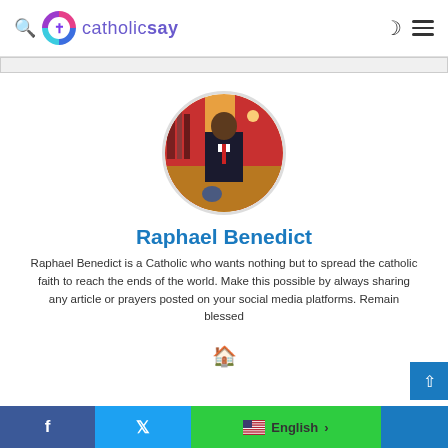catholicsay
[Figure (photo): Circular profile photo of Raphael Benedict, a man standing behind a counter in an indoor setting with red and yellow background lighting]
Raphael Benedict
Raphael Benedict is a Catholic who wants nothing but to spread the catholic faith to reach the ends of the world. Make this possible by always sharing any article or prayers posted on your social media platforms. Remain blessed
Facebook | Twitter | English